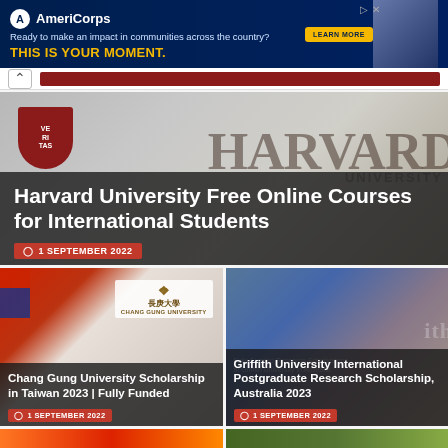[Figure (screenshot): AmeriCorps advertisement banner with dark navy background, logo, tagline 'Ready to make an impact in communities across the country?', bold yellow CTA 'THIS IS YOUR MOMENT.', LEARN MORE button, and photo of people at computers]
Harvard University Free Online Courses for International Students
1 SEPTEMBER 2022
Chang Gung University Scholarship in Taiwan 2023 | Fully Funded
1 SEPTEMBER 2022
Griffith University International Postgraduate Research Scholarship, Australia 2023
1 SEPTEMBER 2022